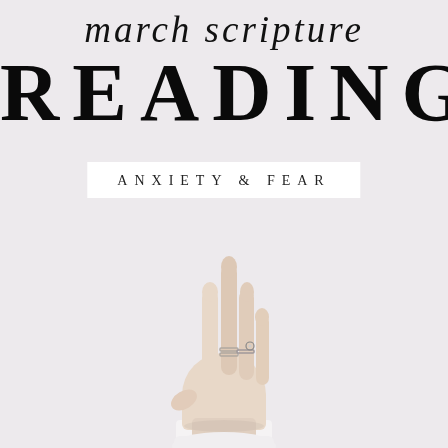march scripture
READING
ANXIETY & FEAR
[Figure (photo): A pale feminine hand raised upward against a white/light grey background, wearing delicate silver rings on the middle and ring fingers, with a white sleeve visible at the wrist.]